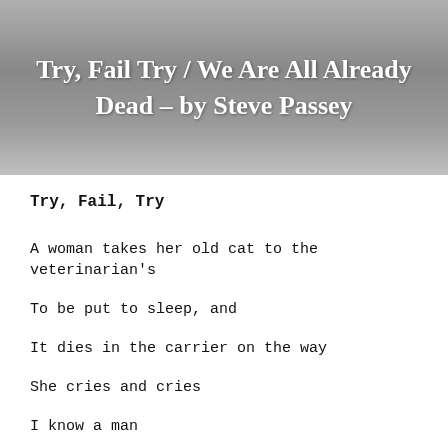Try, Fail Try / We Are All Already Dead – by Steve Passey
Try, Fail, Try
A woman takes her old cat to the veterinarian's
To be put to sleep, and
It dies in the carrier on the way
She cries and cries
I know a man